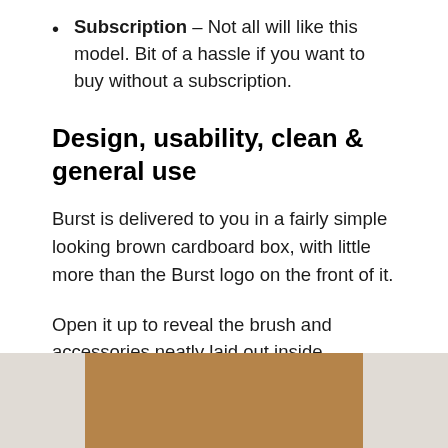Subscription – Not all will like this model. Bit of a hassle if you want to buy without a subscription.
Design, usability, clean & general use
Burst is delivered to you in a fairly simple looking brown cardboard box, with little more than the Burst logo on the front of it.
Open it up to reveal the brush and accessories neatly laid out inside.
[Figure (photo): Photo of a brown cardboard box, partially visible at the bottom of the page]